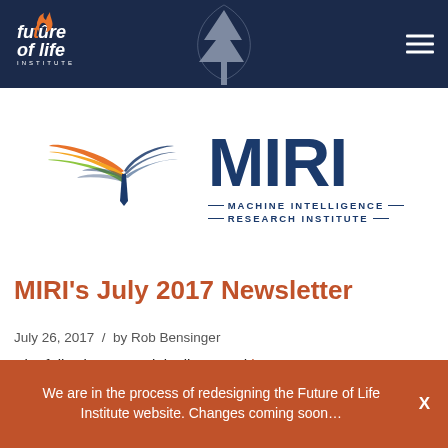[Figure (logo): Future of Life Institute header with FLI logo, decorative tree, hexagon pattern background, and hamburger menu icon on dark navy background]
[Figure (logo): MIRI - Machine Intelligence Research Institute logo with colorful bird wing graphic and navy text]
MIRI's July 2017 Newsletter
July 26, 2017 / by Rob Bensinger
The following was originally posted here.
We are in the process of redesigning the Future of Life Institute website. Changes coming soon…